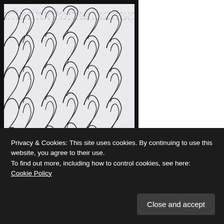[Figure (photo): A photograph of a quilting pattern stencil or template on paper, showing repeating flame or leaf-shaped designs arranged in rows. The pattern features elongated pointed oval/leaf shapes with a curved inner line, creating a feather or flame motif. Dashed lines in pink/red and blue are visible at the top and bottom borders of the pattern. The paper is white with black outline drawings.]
Privacy & Cookies: This site uses cookies. By continuing to use this website, you agree to their use.
To find out more, including how to control cookies, see here: Cookie Policy